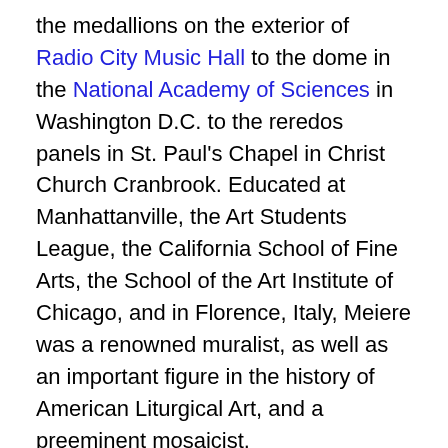the medallions on the exterior of Radio City Music Hall to the dome in the National Academy of Sciences in Washington D.C. to the reredos panels in St. Paul's Chapel in Christ Church Cranbrook. Educated at Manhattanville, the Art Students League, the California School of Fine Arts, the School of the Art Institute of Chicago, and in Florence, Italy, Meiere was a renowned muralist, as well as an important figure in the history of American Liturgical Art, and a preeminent mosaicist.
“It drives me wild to be spoken of as ‘one of the best women artists,” Meiere wrote to a friend in 1936, “I’ve worked as an equal with men and my rating as an equal is all that I value.” In 1956, she was the first woman honored with The Fine Arts Medal of the American Institute of Architects. Although it not, because of changes to the